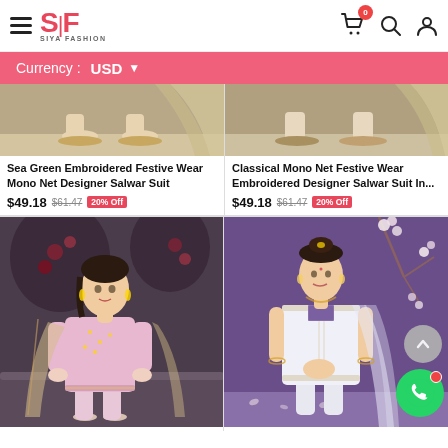Siya Fashion — Currency: USD
Sea Green Embroidered Festive Wear Mono Net Designer Salwar Suit
$49.18  $61.47  20% Off
Classical Mono Net Festive Wear Embroidered Designer Salwar Suit In...
$49.18  $61.47  20% Off
[Figure (photo): Woman wearing light pink embroidered festive salwar suit with dupatta]
[Figure (photo): Woman wearing white/off-white embroidered festive salwar suit with dupatta on purple background]